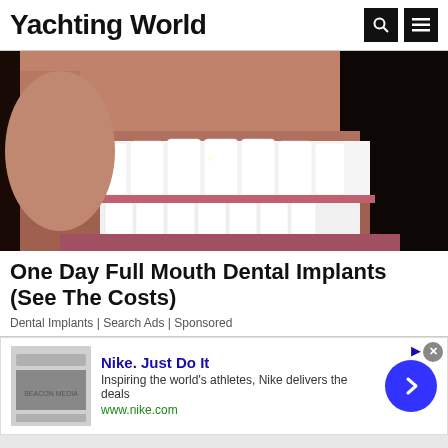Yachting World
[Figure (photo): Close-up photo of a man's smile showing white dental implants/teeth with stubble visible on chin and cheeks, dark background]
One Day Full Mouth Dental Implants (See The Costs)
Dental Implants | Search Ads | Sponsored
[Figure (screenshot): Nike advertisement banner with thumbnail image, Nike. Just Do It headline, description text 'Inspiring the world's athletes, Nike delivers the deals', www.nike.com URL, and blue circular arrow button. Close button (x) in top right corner.]